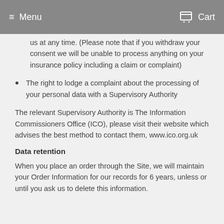Menu   Cart
us at any time. (Please note that if you withdraw your consent we will be unable to process anything on your insurance policy including a claim or complaint)
The right to lodge a complaint about the processing of your personal data with a Supervisory Authority
The relevant Supervisory Authority is The Information Commissioners Office (ICO), please visit their website which advises the best method to contact them, www.ico.org.uk
Data retention
When you place an order through the Site, we will maintain your Order Information for our records for 6 years, unless or until you ask us to delete this information.